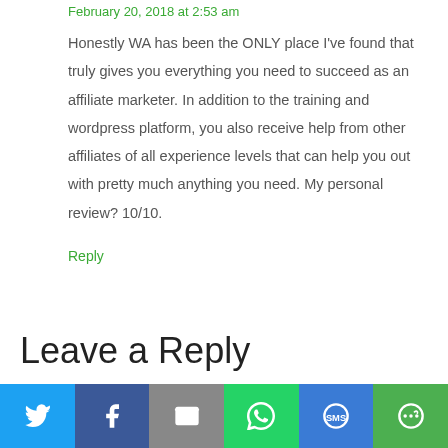February 20, 2018 at 2:53 am
Honestly WA has been the ONLY place I've found that truly gives you everything you need to succeed as an affiliate marketer. In addition to the training and wordpress platform, you also receive help from other affiliates of all experience levels that can help you out with pretty much anything you need. My personal review? 10/10.
Reply
Leave a Reply
[Figure (infographic): Social sharing bar with Twitter, Facebook, Email, WhatsApp, SMS, and More buttons]